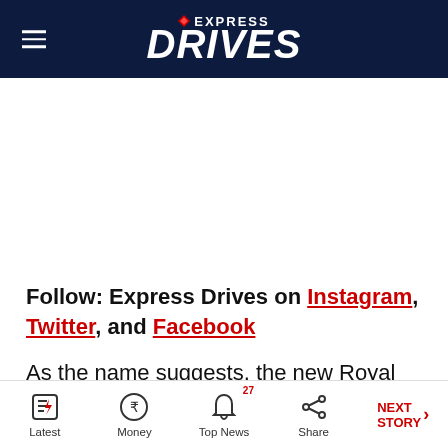Express Drives
Follow: Express Drives on Instagram, Twitter, and Facebook
As the name suggests, the new Royal Enfield Scram 411 is based on the company's Himalayan adventure bike. Powering the Scram 411 is the same 411cc,
Latest | Money | Top News | Share | NEXT STORY